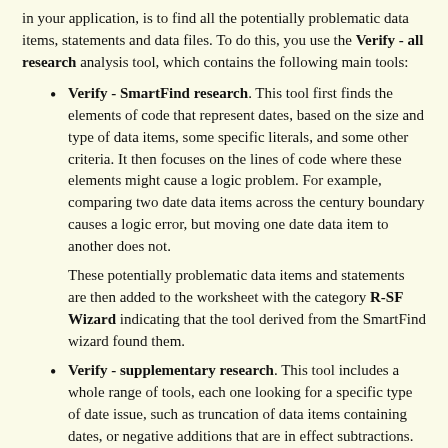in your application, is to find all the potentially problematic data items, statements and data files. To do this, you use the Verify - all research analysis tool, which contains the following main tools:
Verify - SmartFind research. This tool first finds the elements of code that represent dates, based on the size and type of data items, some specific literals, and some other criteria. It then focuses on the lines of code where these elements might cause a logic problem. For example, comparing two date data items across the century boundary causes a logic error, but moving one date data item to another does not.
These potentially problematic data items and statements are then added to the worksheet with the category R-SF Wizard indicating that the tool derived from the SmartFind wizard found them.
Verify - supplementary research. This tool includes a whole range of tools, each one looking for a specific type of date issue, such as truncation of data items containing dates, or negative additions that are in effect subtractions.
Each included tool finds and adds the points of interest to the worksheet, assigning the tool's category to each one. The